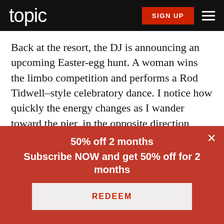topic  SIGN UP
Back at the resort, the DJ is announcing an upcoming Easter-egg hunt. A woman wins the limbo competition and performs a Rod Tidwell–style celebratory dance. I notice how quickly the energy changes as I wander toward the pier, in the opposite direction from the Beach Pub. It's quieter. People are mostly sitting by the water. Nobody's drinking daiquiris from plastic cups, at least not publicly. In
50% off 2 months
Subscribe NOW and get 50% off for 2 months
REDEEM